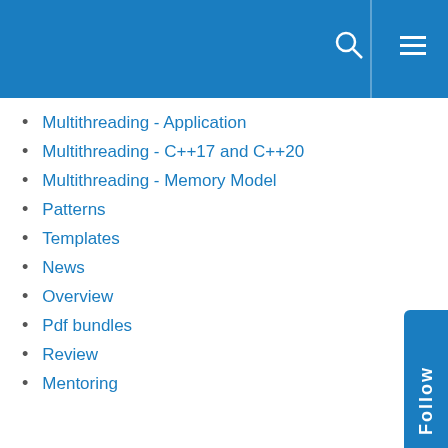Multithreading - Application
Multithreading - C++17 and C++20
Multithreading - Memory Model
Patterns
Templates
News
Overview
Pdf bundles
Review
Mentoring
All tags
acquire-release semantic arithmetic associative containers async atomics atomic_thread_fence auto bit manipulation C C++17 C++20 class hierarchies classes concepts condition variables constexpr contracts conversions coroutines CppMem declarations decltype enum error handling exceptions expressions final finally functions Guideline Support Library if initialisations inline interfaces lambdas lock lock-free memory memory_order_consume modules